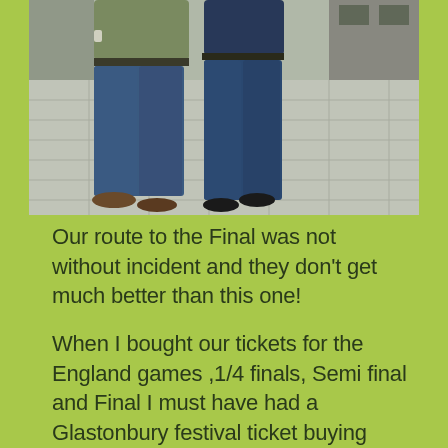[Figure (photo): Two people standing on a paved outdoor area, photographed from approximately waist down. One person wears a green/olive t-shirt and jeans, the other wears a dark blue t-shirt and jeans. There is a large paved plaza and what appears to be a building facade in the background.]
Our route to the Final was not without incident and they don't get much better than this one!
When I bought our tickets for the England games ,1/4 finals, Semi final and Final I must have had a Glastonbury festival ticket buying panic moment as I managed to purchase the 3rd/4th play off Bronze final tickets instead of the Final .To be honest I wasn't sure England